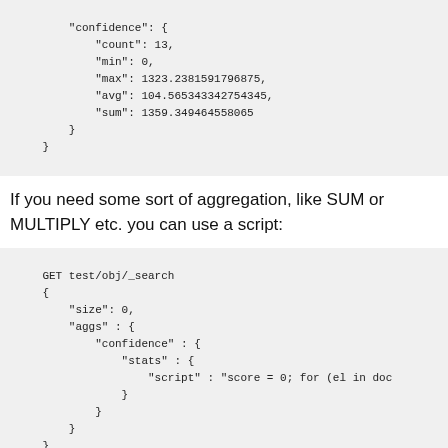"confidence": {
    "count": 13,
    "min": 0,
    "max": 1323.2381591796875,
    "avg": 104.565343342754345,
    "sum": 1359.349464558065
}
}
If you need some sort of aggregation, like SUM or MULTIPLY etc. you can use a script:
GET test/obj/_search
{
    "size": 0,
    "aggs" : {
        "confidence" : {
            "stats" : {
                "script" : "score = 0; for (el in doc
            }
        }
    }
}